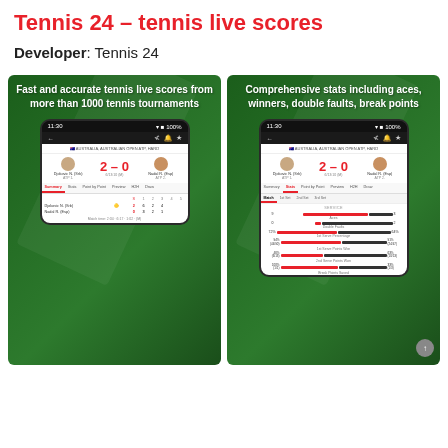Tennis 24 – tennis live scores
Developer: Tennis 24
[Figure (screenshot): Mobile app screenshot showing tennis live scores with score 2-0 between Djokovic N. (Srb) and Nadal R. (Esp) with set statistics table. Caption: Fast and accurate tennis live scores from more than 1000 tennis tournaments]
[Figure (screenshot): Mobile app screenshot showing comprehensive stats including aces, double faults, 1st serve percentage, 1st serve points won, 2nd serve points won, break points saved. Caption: Comprehensive stats including aces, winners, double faults, break points]